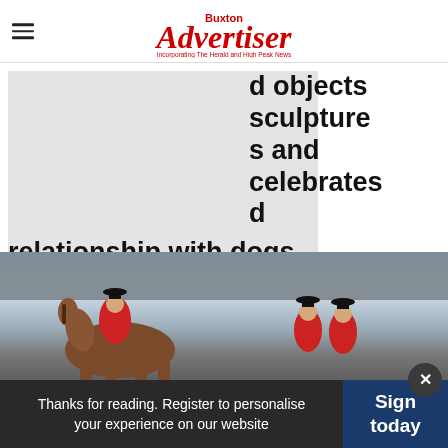Buxton Advertiser — Incorporating The Herald and High Peak News
d objects sculpture s and celebrates d relationship with dogs.
[Figure (photo): Placeholder image area (grey box) partially covered by large text]
[Figure (photo): Outdoor photo showing horses and riders in red hunting jackets with top hats against a cloudy sky]
Thanks for reading. Register to personalise your experience on our website
Sign today